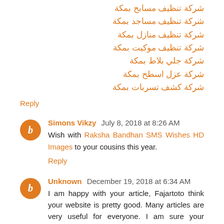شركة تنظيف مسابح بمكة
شركة تنظيف مساجد بمكة
شركة تنظيف منازل بمكة
شركة تنظيف موكيت بمكة
شركة جلي بلاط بمكة
شركة عزل اسطح بمكة
شركة كشف تسربات بمكة
Reply
Simons Vikzy  July 8, 2018 at 8:26 AM
Wish with Raksha Bandhan SMS Wishes HD Images to your cousins this year.
Reply
Unknown  December 19, 2018 at 6:34 AM
I am happy with your article, Fajartoto think your website is pretty good. Many articles are very useful for everyone. I am sure your website will grow in the future. Fajartoto will